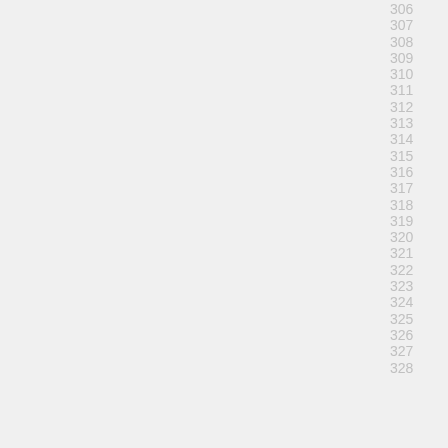306 307 308 309 310 311 312 313 314 315 316 317 318 319 320 321 322 323 324 325 326 327 328